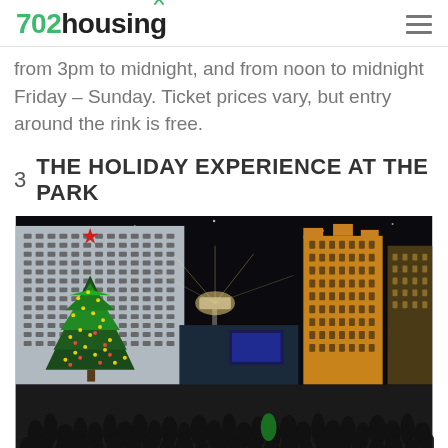702housing
from 3pm to midnight, and from noon to midnight Friday – Sunday. Ticket prices vary, but entry around the rink is free.
3  THE HOLIDAY EXPERIENCE AT THE PARK
[Figure (photo): Night photo of a large Christmas tree decorated with lights and a red star on top, surrounded by a crowd of people, with casino hotel buildings (including New York-New York) lit up in the background. Las Vegas Strip outdoor park area.]